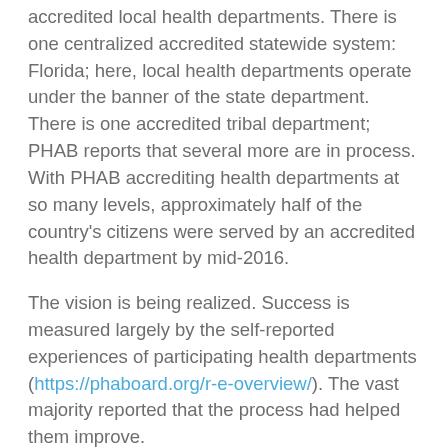accredited local health departments. There is one centralized accredited statewide system: Florida; here, local health departments operate under the banner of the state department. There is one accredited tribal department; PHAB reports that several more are in process. With PHAB accrediting health departments at so many levels, approximately half of the country's citizens were served by an accredited health department by mid-2016.
The vision is being realized. Success is measured largely by the self-reported experiences of participating health departments (https://phaboard.org/r-e-overview/). The vast majority reported that the process had helped them improve.
Planning for Accreditation